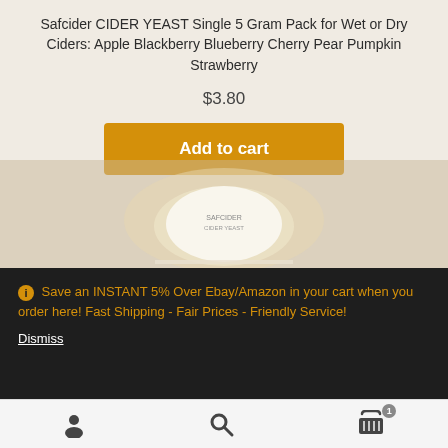Safcider CIDER YEAST Single 5 Gram Pack for Wet or Dry Ciders: Apple Blackberry Blueberry Cherry Pear Pumpkin Strawberry
$3.80
[Figure (screenshot): Add to cart button (orange/gold colored)]
[Figure (photo): Background photo of cider yeast product packaging, blurred]
Save an INSTANT 5% Over Ebay/Amazon in your cart when you order here! Fast Shipping - Fair Prices - Friendly Service!
Dismiss
Navigation icons: user, search, cart (1 item)